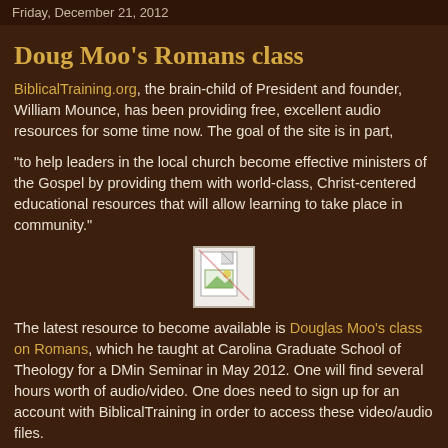Friday, December 21, 2012
Doug Moo's Romans class
BiblicalTraining.org, the brain-child of President and founder, William Mounce, has been providing free, excellent audio resources for some time now. The goal of the site is in part,
"to help leaders in the local church become effective ministers of the Gospel by providing them with world-class, Christ-centered educational resources that will allow learning to take place in community."
[Figure (illustration): Broken/placeholder image icon in a white bordered box]
The latest resource to become available is Douglas Moo's class on Romans, which he taught at Carolina Graduate School of Theology for a DMin Seminar in May 2012. One will find several hours worth of audio/video. One does need to sign up for an account with BiblicalTraining in order to access these video/audio files.